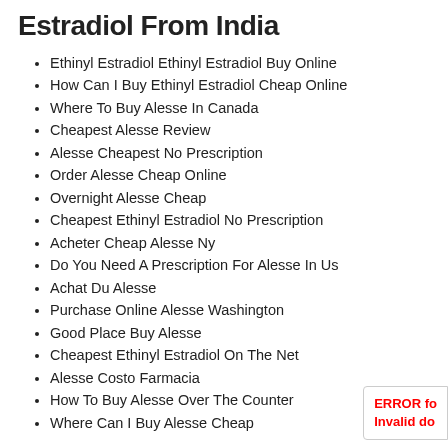Estradiol From India
Ethinyl Estradiol Ethinyl Estradiol Buy Online
How Can I Buy Ethinyl Estradiol Cheap Online
Where To Buy Alesse In Canada
Cheapest Alesse Review
Alesse Cheapest No Prescription
Order Alesse Cheap Online
Overnight Alesse Cheap
Cheapest Ethinyl Estradiol No Prescription
Acheter Cheap Alesse Ny
Do You Need A Prescription For Alesse In Us
Achat Du Alesse
Purchase Online Alesse Washington
Good Place Buy Alesse
Cheapest Ethinyl Estradiol On The Net
Alesse Costo Farmacia
How To Buy Alesse Over The Counter
Where Can I Buy Alesse Cheap
ERROR fo
Invalid do